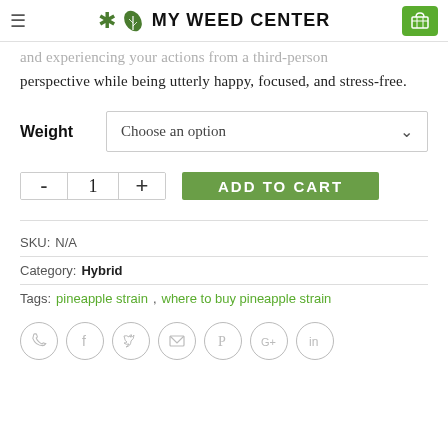MY WEED CENTER
and experiencing your actions from a third-person perspective while being utterly happy, focused, and stress-free.
Weight  Choose an option
- 1 +  ADD TO CART
SKU: N/A
Category: Hybrid
Tags: pineapple strain, where to buy pineapple strain
[Figure (other): Social share icons row: phone, facebook, twitter, email, pinterest, google+, linkedin]